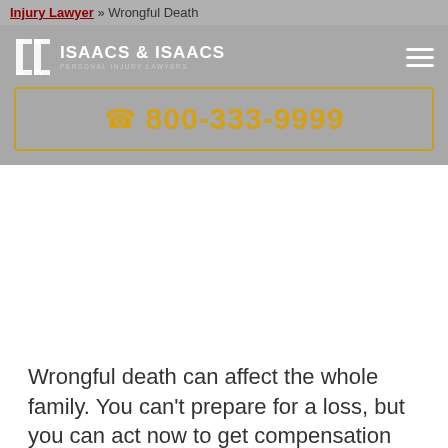Injury Lawyer » Wrongful Death
[Figure (logo): Isaacs & Isaacs Personal Injury Lawyers logo with two column icon]
☎ 800-333-9999
Wrongful death can affect the whole family. You can't prepare for a loss, but you can act now to get compensation for your loss with a Beech Grove wrongful death lawyer.